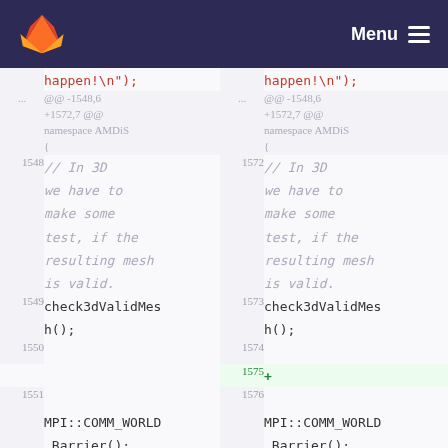GitLab logo | Menu
[Figure (screenshot): Code diff view showing two panels (left: old, right: new) of a C++ source file. Lines 1548-1552 on the left and 1572-1577 on the right are shown. Content includes namespace AMDiS code with // In 3D comment, check3dValidMesh() call, MPI::COMM_WORLD.Barrier(), and MSG("Mesh...). Line 1575 on the right is a newly added green-highlighted line with '+'.]